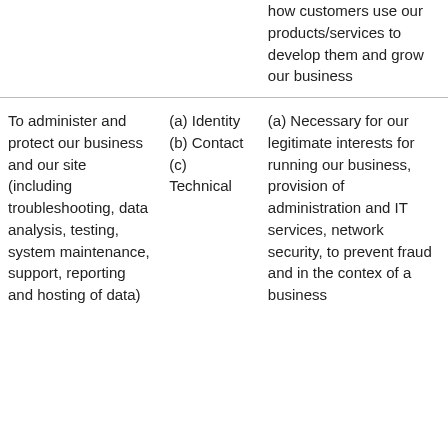|  |  | how customers use our products/services to develop them and grow our business |
| To administer and protect our business and our site (including troubleshooting, data analysis, testing, system maintenance, support, reporting and hosting of data) | (a) Identity (b) Contact (c) Technical | (a) Necessary for our legitimate interests for running our business, provision of administration and IT services, network security, to prevent fraud and in the context of a business... |